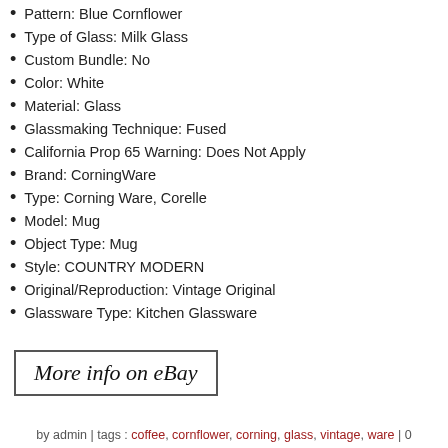Pattern: Blue Cornflower
Type of Glass: Milk Glass
Custom Bundle: No
Color: White
Material: Glass
Glassmaking Technique: Fused
California Prop 65 Warning: Does Not Apply
Brand: CorningWare
Type: Corning Ware, Corelle
Model: Mug
Object Type: Mug
Style: COUNTRY MODERN
Original/Reproduction: Vintage Original
Glassware Type: Kitchen Glassware
[Figure (other): Button linking to eBay listing with text 'More info on eBay']
by admin | tags : coffee, cornflower, corning, glass, vintage, ware | 0